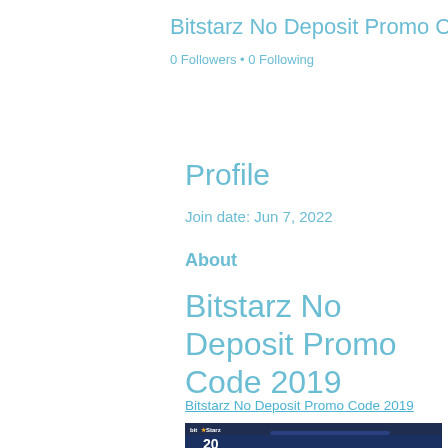Bitstarz No Deposit Promo C...
0 Followers • 0 Following
Profile
Join date: Jun 7, 2022
About
Bitstarz No Deposit Promo Code 2019
Bitstarz No Deposit Promo Code 2019
[Figure (screenshot): Screenshot of Bitstarz casino website showing animated characters and a '20' number on a dark background]